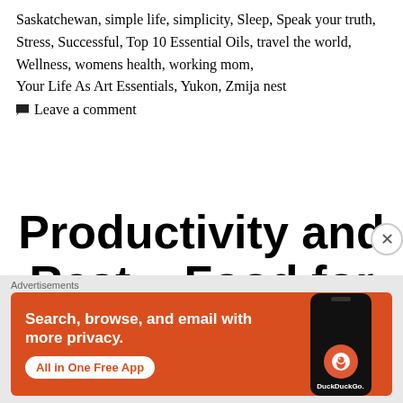Saskatchewan, simple life, simplicity, Sleep, Speak your truth, Stress, Successful, Top 10 Essential Oils, travel the world, Wellness, womens health, working mom, Your Life As Art Essentials, Yukon, Zmija nest
Leave a comment
Productivity and Rest ~ Food for the Soul
Advertisements
[Figure (screenshot): DuckDuckGo advertisement banner with orange background. Text: 'Search, browse, and email with more privacy. All in One Free App' with a phone showing the DuckDuckGo app logo.]